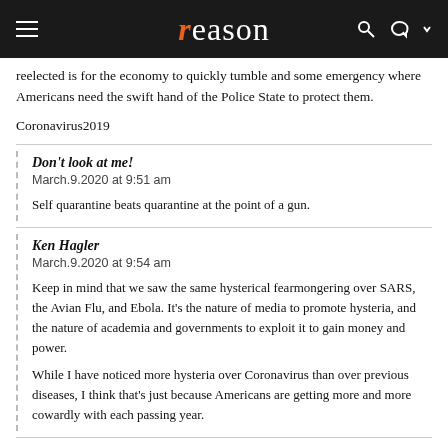reason
reelected is for the economy to quickly tumble and some emergency where Americans need the swift hand of the Police State to protect them.
Coronavirus2019
Don't look at me!
March.9.2020 at 9:51 am

Self quarantine beats quarantine at the point of a gun.
Ken Hagler
March.9.2020 at 9:54 am

Keep in mind that we saw the same hysterical fearmongering over SARS, the Avian Flu, and Ebola. It's the nature of media to promote hysteria, and the nature of academia and governments to exploit it to gain money and power.

While I have noticed more hysteria over Coronavirus than over previous diseases, I think that's just because Americans are getting more and more cowardly with each passing year.